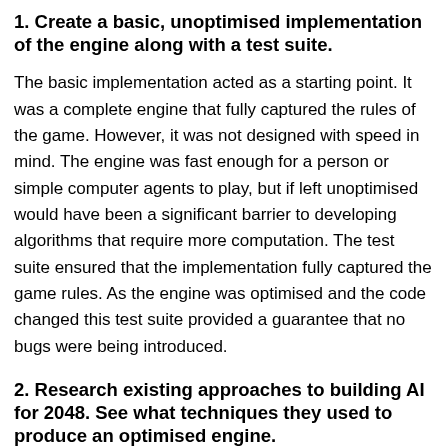1. Create a basic, unoptimised implementation of the engine along with a test suite.
The basic implementation acted as a starting point. It was a complete engine that fully captured the rules of the game. However, it was not designed with speed in mind. The engine was fast enough for a person or simple computer agents to play, but if left unoptimised would have been a significant barrier to developing algorithms that require more computation. The test suite ensured that the implementation fully captured the game rules. As the engine was optimised and the code changed this test suite provided a guarantee that no bugs were being introduced.
2. Research existing approaches to building AI for 2048. See what techniques they used to produce an optimised engine.